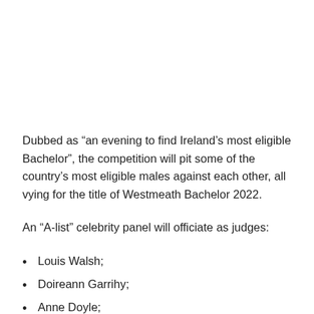Dubbed as “an evening to find Ireland’s most eligible Bachelor”, the competition will pit some of the country’s most eligible males against each other, all vying for the title of Westmeath Bachelor 2022.
An “A-list” celebrity panel will officiate as judges:
Louis Walsh;
Doireann Garrihy;
Anne Doyle;
Nathan Carter.